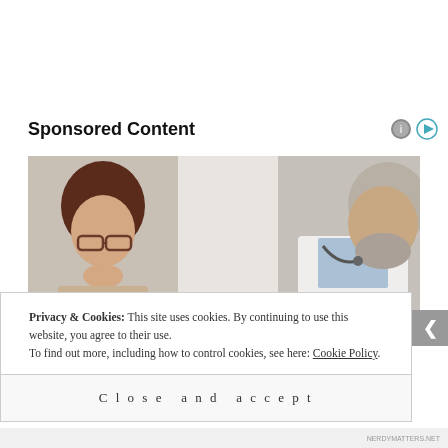Sponsored Content
[Figure (photo): An elderly woman wearing glasses resting her chin on her hand looking downward, and an older male doctor in a white coat with a stethoscope leaning toward her in consultation]
Privacy & Cookies: This site uses cookies. By continuing to use this website, you agree to their use.
To find out more, including how to control cookies, see here: Cookie Policy
Close and accept